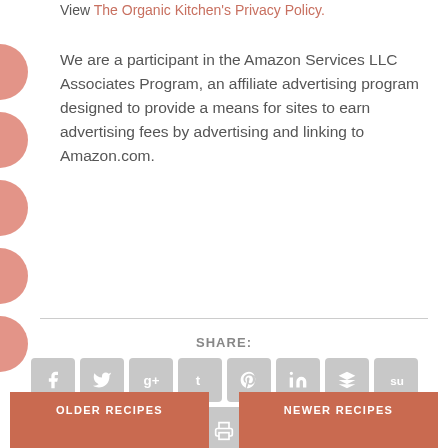View The Organic Kitchen's Privacy Policy.
We are a participant in the Amazon Services LLC Associates Program, an affiliate advertising program designed to provide a means for sites to earn advertising fees by advertising and linking to Amazon.com.
SHARE:
[Figure (infographic): Social share icon buttons: Facebook, Twitter, Google+, Tumblr, Pinterest, LinkedIn, Buffer, StumbleUpon, Email, Print]
OLDER RECIPES
NEWER RECIPES